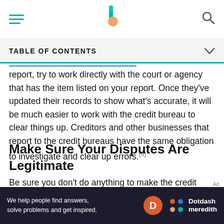TABLE OF CONTENTS
report, try to work directly with the court or agency that has the item listed on your report. Once they've updated their records to show what's accurate, it will be much easier to work with the credit bureau to clear things up. Creditors and other businesses that report to the credit bureaus have the same obligation to investigate and clear up errors.[6]
Make Sure Your Disputes Are Legitimate
Be sure you don't do anything to make the credit bureaus think your credit report disputes are frivolous.
[Figure (other): Ad banner: Dotdash Meredith - We help people find answers, solve problems and get inspired.]